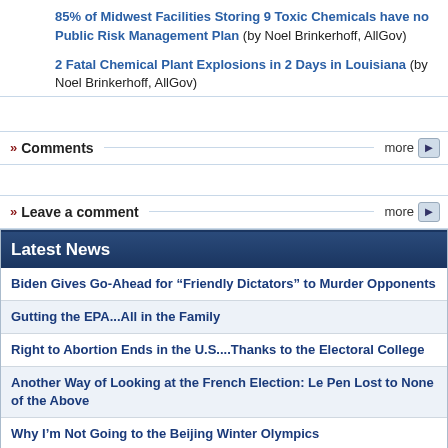85% of Midwest Facilities Storing 9 Toxic Chemicals have no Public Risk Management Plan (by Noel Brinkerhoff, AllGov)
2 Fatal Chemical Plant Explosions in 2 Days in Louisiana (by Noel Brinkerhoff, AllGov)
» Comments   more
» Leave a comment   more
Latest News
Biden Gives Go-Ahead for “Friendly Dictators” to Murder Opponents
Gutting the EPA...All in the Family
Right to Abortion Ends in the U.S....Thanks to the Electoral College
Another Way of Looking at the French Election: Le Pen Lost to None of the Above
Why I’m Not Going to the Beijing Winter Olympics